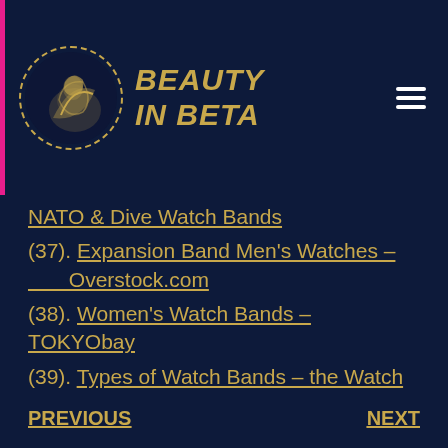Beauty In Beta
NATO & Dive Watch Bands
(37). Expansion Band Men's Watches – Overstock.com
(38). Women's Watch Bands – TOKYObay
(39). Types of Watch Bands – the Watch Bands Wiki | Strapcode
PREVIOUS   NEXT